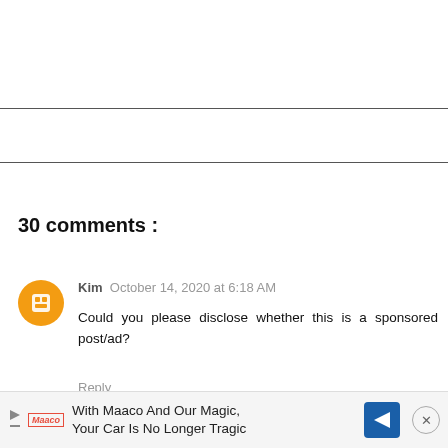30 comments :
Kim October 14, 2020 at 6:18 AM
Could you please disclose whether this is a sponsored post/ad?
Reply
[Figure (infographic): Advertisement banner: With Maaco And Our Magic, Your Car Is No Longer Tragic]
With Maaco And Our Magic, Your Car Is No Longer Tragic